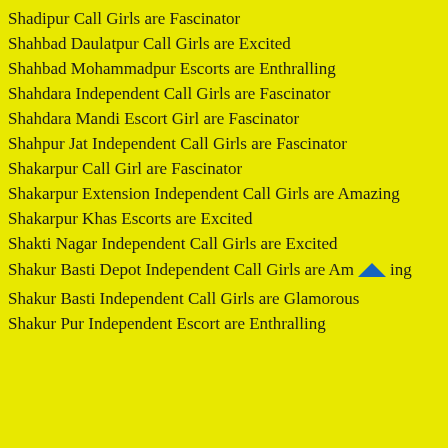Shadipur Call Girls are Fascinator
Shahbad Daulatpur Call Girls are Excited
Shahbad Mohammadpur Escorts are Enthralling
Shahdara Independent Call Girls are Fascinator
Shahdara Mandi Escort Girl are Fascinator
Shahpur Jat Independent Call Girls are Fascinator
Shakarpur Call Girl are Fascinator
Shakarpur Extension Independent Call Girls are Amazing
Shakarpur Khas Escorts are Excited
Shakti Nagar Independent Call Girls are Excited
Shakur Basti Depot Independent Call Girls are Amazing
Shakur Basti Independent Call Girls are Glamorous
Shakur Pur Independent Escort are Enthralling